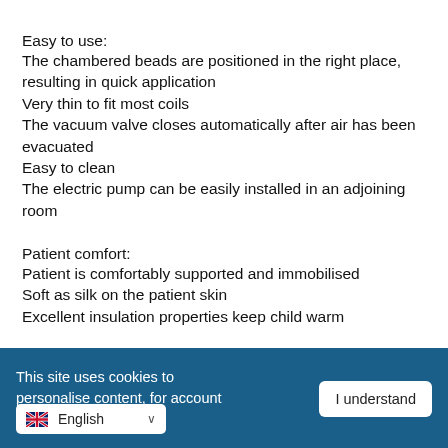Easy to use:
The chambered beads are positioned in the right place, resulting in quick application
Very thin to fit most coils
The vacuum valve closes automatically after air has been evacuated
Easy to clean
The electric pump can be easily installed in an adjoining room
Patient comfort:
Patient is comfortably supported and immobilised
Soft as silk on the patient skin
Excellent insulation properties keep child warm
Results:
No movement; optimal first time images
Increased throughput; more patients per shift
This site uses cookies to personalise content, for account features, and to an...
I understand
English